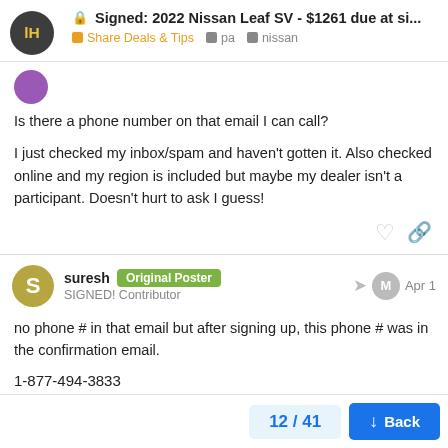🔒 Signed: 2022 Nissan Leaf SV - $1261 due at si... | Share Deals & Tips pa nissan
Is there a phone number on that email I can call?
I just checked my inbox/spam and haven't gotten it. Also checked online and my region is included but maybe my dealer isn't a participant. Doesn't hurt to ask I guess!
suresh Original Poster
SIGNED! Contributor
Apr 1
no phone # in that email but after signing up, this phone # was in the confirmation email.
1-877-494-3833
Back  12 / 41